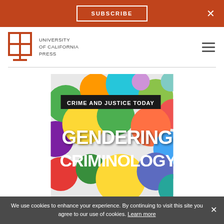SUBSCRIBE  ×
[Figure (logo): University of California Press logo — open book icon with text 'UNIVERSITY of CALIFORNIA PRESS']
[Figure (photo): Book cover for 'Gendering Criminology' from the Crime and Justice Today series, featuring colorful abstract spherical shapes resembling human heads in various colors (yellow, green, orange, purple, teal, red). White bold text reads 'GENDERING CRIMINOLOGY' with a black banner at top reading 'CRIME AND JUSTICE TODAY'.]
We use cookies to enhance your experience. By continuing to visit this site you agree to our use of cookies. Learn more  ×